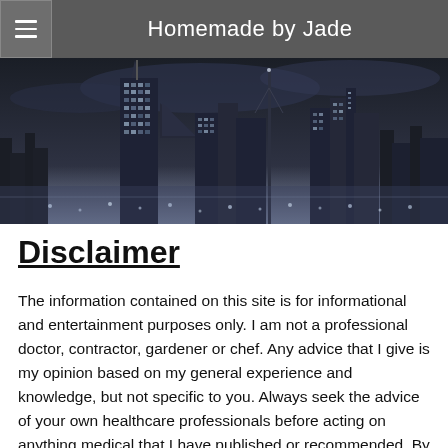Homemade by Jade
[Figure (photo): Black and white aerial nighttime cityscape showing tall skyscrapers and city lights]
Disclaimer
The information contained on this site is for informational and entertainment purposes only. I am not a professional doctor, contractor, gardener or chef. Any advice that I give is my opinion based on my general experience and knowledge, but not specific to you. Always seek the advice of your own healthcare professionals before acting on anything medical that I have published or recommended. By reading the information on this site, you agree that Homemade by Jade and/or Tracey Boyer is not responsible for your